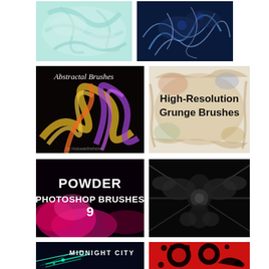[Figure (illustration): Light teal/white feathery smoke or wispy abstract texture on pale cyan background]
[Figure (illustration): White glowing smoke/energy wisps on deep blue background]
[Figure (illustration): Abstractal Brushes - colorful swirling abstract strokes in gold, purple, orange on black background with italic text label]
[Figure (illustration): High-Resolution Grunge Brushes - bold black text on weathered beige/grunge textured background]
[Figure (illustration): Powder Photoshop Brushes 9 - white bold text on black background with magenta/pink powder smoke effect]
[Figure (illustration): Dark abstract symmetrical creature/figure in black and grey tones with dramatic light streaks]
[Figure (illustration): Midnight City - cyan neon light streaks and geometric lines on dark navy background with text]
[Figure (illustration): Red background with black abstract cartoon-style decorative silhouettes and shapes]